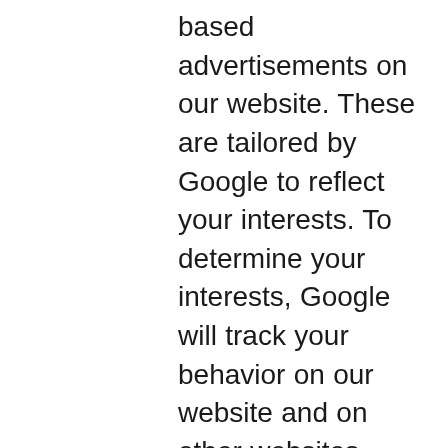based advertisements on our website. These are tailored by Google to reflect your interests. To determine your interests, Google will track your behavior on our website and on other websites across the web using cookies. You can view, delete or add interest categories associated with your browser by visiting: https://adssettings.google.com. You can also opt out of the AdSense partner network cookie using those settings or using the Network Advertising Initiative's multi-cookie opt-out mechanism at: http://optout.networkadvertising.org. However, these opt-out mechanisms themselves use cookies, and if you